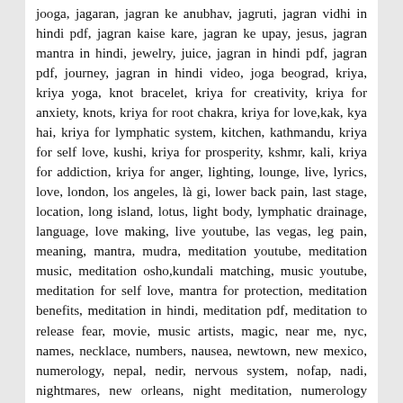jooga, jagaran, jagran ke anubhav, jagruti, jagran vidhi in hindi pdf, jagran kaise kare, jagran ke upay, jesus, jagran mantra in hindi, jewelry, juice, jagran in hindi pdf, jagran pdf, journey, jagran in hindi video, joga beograd, kriya, kriya yoga, knot bracelet, kriya for creativity, kriya for anxiety, knots, kriya for root chakra, kriya for love,kak, kya hai, kriya for lymphatic system, kitchen, kathmandu, kriya for self love, kushi, kriya for prosperity, kshmr, kali, kriya for addiction, kriya for anger, lighting, lounge, live, lyrics, love, london, los angeles, là gi, lower back pain, last stage, location, long island, lotus, light body, lymphatic drainage, language, love making, live youtube, las vegas, leg pain, meaning, mantra, mudra, meditation youtube, meditation music, meditation osho,kundali matching, music youtube, meditation for self love, mantra for protection, meditation benefits, meditation in hindi, meditation pdf, meditation to release fear, movie, music artists, magic, near me, nyc, names, necklace, numbers, nausea, newtown, new mexico, numerology, nepal, nedir, nervous system, nofap, nadi, nightmares, new orleans, night meditation, numerology compatibility, nashville, nami, osho, online, oil, opening, origin, opening chant, o que é, of earth, outfit, overload, orlando, online training, occult, ocd, of long island, ottawa, other names, oakland, one minute breath, orange county, power, psychosis, pdf,